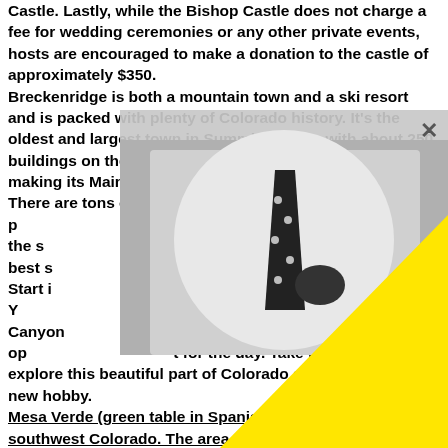Castle. Lastly, while the Bishop Castle does not charge a fee for wedding ceremonies or any other private events, hosts are encouraged to make a donation to the castle of approximately $350. Breckenridge is both a mountain town and a ski resort and is packed with plenty of Colorado history. It's the oldest and largest town in Summit County, with about 250 buildings on the National Register of Historic Places, making its Main Street an absolute dream to wander. There are tons of arts events and festivals all year, p... king out. In ... oom in the s... ridge Ski Re... the best s... Start i... water rafter. Y... river for a tr... s Canyon... afters, with op... for the day. Take the time to explore this beautiful part of Colorado and maybe find a new hobby. Mesa Verde (green table in Spanish) is located in southwest Colorado. The area was deemed a national park in 1906 by Theodore Roosevelt. It is a gorgeous national park and World heritage site that...
[Figure (photo): Black and white photo of a man in a white suit jacket with a black polka-dot tie and pocket square, overlaid with a large yellow triangle shape.]